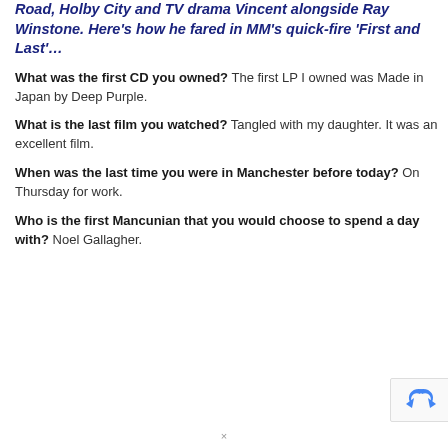Road, Holby City and TV drama Vincent alongside Ray Winstone. Here's how he fared in MM's quick-fire 'First and Last'…
What was the first CD you owned? The first LP I owned was Made in Japan by Deep Purple.
What is the last film you watched? Tangled with my daughter. It was an excellent film.
When was the last time you were in Manchester before today? On Thursday for work.
Who is the first Mancunian that you would choose to spend a day with? Noel Gallagher.
[Figure (logo): reCAPTCHA logo partial view in bottom right corner]